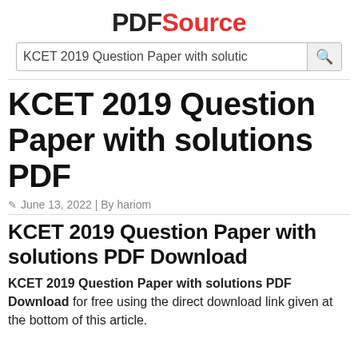PDFSource
KCET 2019 Question Paper with solutio [search bar]
KCET 2019 Question Paper with solutions PDF
June 13, 2022 | By hariom
KCET 2019 Question Paper with solutions PDF Download
KCET 2019 Question Paper with solutions PDF Download for free using the direct download link given at the bottom of this article.